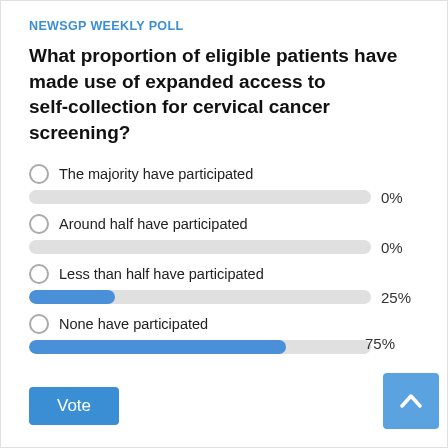NEWSGP WEEKLY POLL
What proportion of eligible patients have made use of expanded access to self-collection for cervical cancer screening?
The majority have participated
Around half have participated
Less than half have participated
None have participated